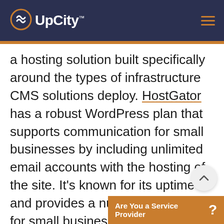UpCity
a hosting solution built specifically around the types of infrastructure CMS solutions deploy. HostGator has a robust WordPress plan that supports communication for small businesses by including unlimited email accounts with the hosting of the site. It's known for its uptime and provides a number of solutions for small businesses with little budget to build out their website themselves.
Are You a Service Provider ?